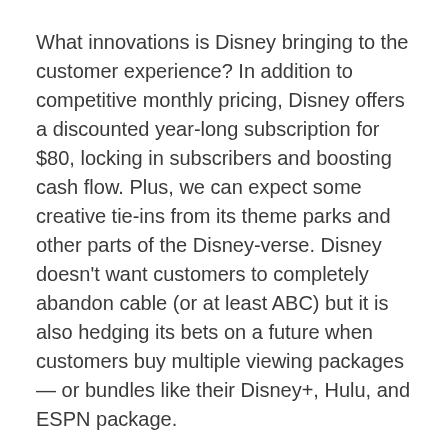What innovations is Disney bringing to the customer experience? In addition to competitive monthly pricing, Disney offers a discounted year-long subscription for $80, locking in subscribers and boosting cash flow. Plus, we can expect some creative tie-ins from its theme parks and other parts of the Disney-verse. Disney doesn't want customers to completely abandon cable (or at least ABC) but it is also hedging its bets on a future when customers buy multiple viewing packages — or bundles like their Disney+, Hulu, and ESPN package.
Either or And?
Don't count Netflix out, of course. They have demonstrated their innovative agility in the past by pioneering the move to streaming and strong